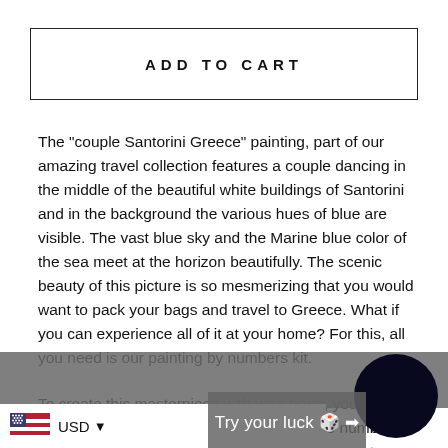ADD TO CART
The "couple Santorini Greece" painting, part of our amazing travel collection features a couple dancing in the middle of the beautiful white buildings of Santorini and in the background the various hues of blue are visible. The vast blue sky and the Marine blue color of the sea meet at the horizon beautifully. The scenic beauty of this picture is so mesmerizing that you would want to pack your bags and travel to Greece. What if you can experience all of it at your home? For this, all you need is our painting by numbers kit.
To create this masterpiece with your hand, you need to do is match the colors given in the kit to the numbers specified on the Canvas. Within no time the master fees will be ready in front of you. This amazing painting can be put in as a part of your [something] and engaging [something] for someone who loves art and creativity.